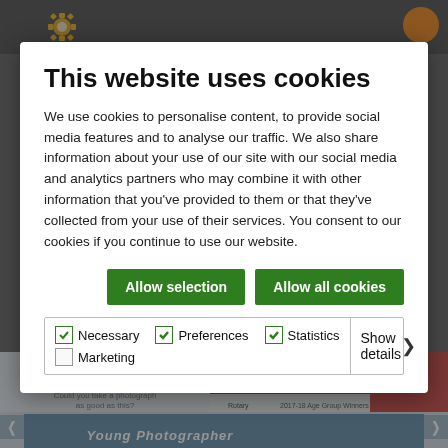This website uses cookies
We use cookies to personalise content, to provide social media features and to analyse our traffic. We also share information about your use of our site with our social media and analytics partners who may combine it with other information that you've provided to them or that they've collected from your use of their services. You consent to our cookies if you continue to use our website.
Allow selection | Allow all cookies
Necessary | Preferences | Statistics | Marketing | Show details
[Figure (screenshot): Background website content showing Photographer Competition and Young Photographer sections with navigation arrows]